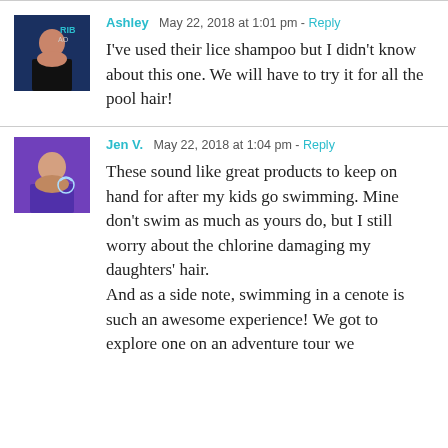Ashley  May 22, 2018 at 1:01 pm - Reply
I've used their lice shampoo but I didn't know about this one. We will have to try it for all the pool hair!
Jen V.  May 22, 2018 at 1:04 pm - Reply
These sound like great products to keep on hand for after my kids go swimming. Mine don't swim as much as yours do, but I still worry about the chlorine damaging my daughters' hair.
And as a side note, swimming in a cenote is such an awesome experience! We got to explore one on an adventure tour we